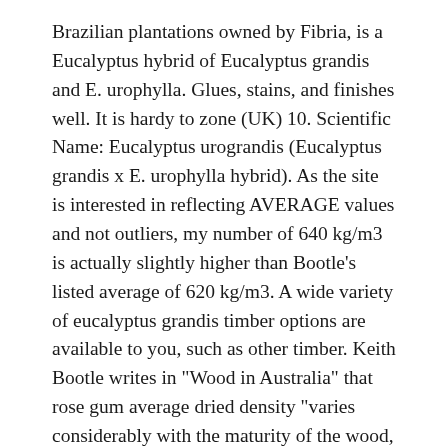Brazilian plantations owned by Fibria, is a Eucalyptus hybrid of Eucalyptus grandis and E. urophylla. Glues, stains, and finishes well. It is hardy to zone (UK) 10. Scientific Name: Eucalyptus urograndis (Eucalyptus grandis x E. urophylla hybrid). As the site is interested in reflecting AVERAGE values and not outliers, my number of 640 kg/m3 is actually slightly higher than Bootle's listed average of 620 kg/m3. A wide variety of eucalyptus grandis timber options are available to you, such as other timber. Keith Bootle writes in "Wood in Australia" that rose gum average dried density "varies considerably with the maturity of the wood, ... Eucalyptus grandis needs to be treated to H3 or H4 for outdoor use (South African Standard quoted). 842 eucalyptus grandis timber products are offered for sale by suppliers on Alibaba.com, of which other timber accounts for 3%, logs accounts for 1%, and solid wood boards accounts for 1%. FYI: I receive a commission on sales generated through